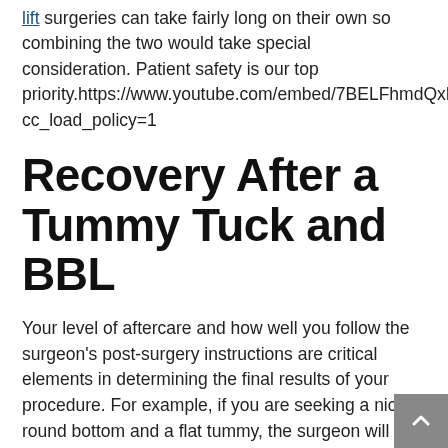lift surgeries can take fairly long on their own so combining the two would take special consideration. Patient safety is our top priority.https://www.youtube.com/embed/7BELFhmdQxE?cc_load_policy=1
Recovery After a Tummy Tuck and BBL
Your level of aftercare and how well you follow the surgeon's post-surgery instructions are critical elements in determining the final results of your procedure. For example, if you are seeking a nice round bottom and a flat tummy, the surgeon will let you know which things you can and cannot do after surgery to ensure